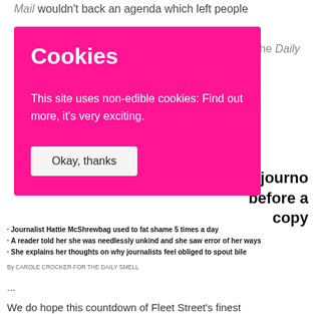Mail wouldn't back an agenda which left people
y'd do
r the Daily
[Figure (screenshot): A pink/magenta cookie consent overlay popup with title 'Cookies', body text 'This site uses non-edible cookies: Find out more, it’s very exciting.', and a button 'Okay, thanks']
This journo before a copy
Journalist Hattie McShrewbag used to fat shame 5 times a day
A reader told her she was needlessly unkind and she saw error of her ways
She explains her thoughts on why journalists feel obliged to spout bile
By CAROLE CROCKER FOR THE DAILY SMELL
...
We do hope this countdown of Fleet Street's finest